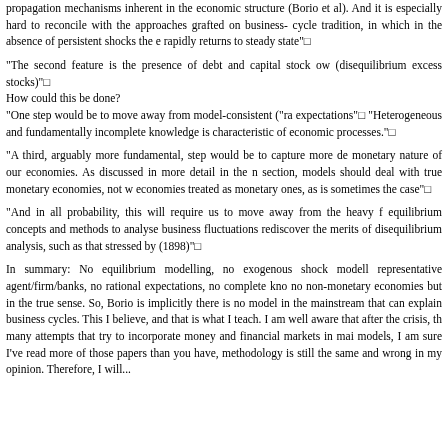propagation mechanisms inherent in the economic structure (Borio et al). And it is especially hard to reconcile with the approaches grafted on business-cycle tradition, in which in the absence of persistent shocks the e rapidly returns to steady state"□
"The second feature is the presence of debt and capital stock ow (disequilibrium excess stocks)"□ How could this be done? "One step would be to move away from model-consistent ("ra expectations"□ "Heterogeneous and fundamentally incomplete knowledge is characteristic of economic processes."□
"A third, arguably more fundamental, step would be to capture more de monetary nature of our economies. As discussed in more detail in the n section, models should deal with true monetary economies, not w economies treated as monetary ones, as is sometimes the case"□
"And in all probability, this will require us to move away from the heavy f equilibrium concepts and methods to analyse business fluctuations rediscover the merits of disequilibrium analysis, such as that stressed by (1898)"□
In summary: No equilibrium modelling, no exogenous shock modell representative agent/firm/banks, no rational expectations, no complete kno no non-monetary economies but in the true sense. So, Borio is implicitly there is no model in the mainstream that can explain business cycles. This I believe, and that is what I teach. I am well aware that after the crisis, th many attempts that try to incorporate money and financial markets in mai models, I am sure I've read more of those papers than you have, methodology is still the same and wrong in my opinion. Therefore, I will...